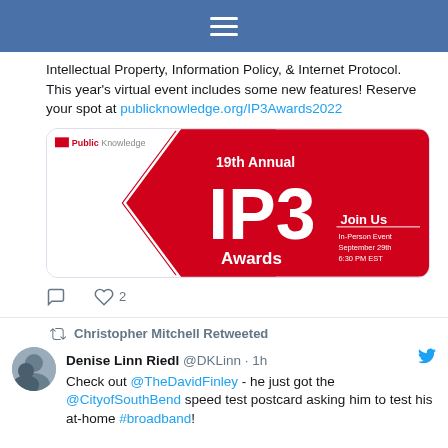≡ (hamburger menu)
Intellectual Property, Information Policy, & Internet Protocol. This year's virtual event includes some new features! Reserve your spot at publicknowledge.org/IP3Awards2022
[Figure (illustration): Red branded card for '19th Annual IP3 Awards' by Public Knowledge. Features large white 'IP3' text on red background with chevron design and 'Join Us In-Person Event September 29th 6:30 PM EST' text.]
♡ 2 (likes)
Christopher Mitchell Retweeted
Denise Linn Riedl @DKLinn · 1h
Check out @TheDavidFinley - he just got the @CityofSouthBend speed test postcard asking him to test his at-home #broadband!